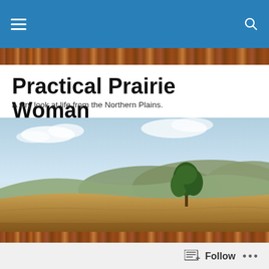Navigation bar with hamburger menu and search icon
Practical Prairie Woman
A wry look at life from the Northern Plains.
[Figure (photo): Panoramic prairie landscape with golden fields, a lone tree, rolling hills, and a partly cloudy sky at dusk]
Who’s the Real Turkey Here?
It’s embarrassing for a grown woman, a grandmother no less, to charge out onto her deck, yelping and growling like
Follow •••